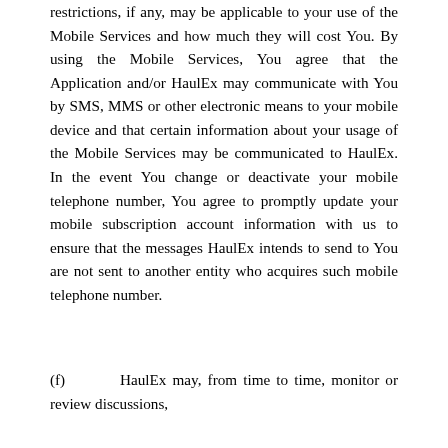restrictions, if any, may be applicable to your use of the Mobile Services and how much they will cost You. By using the Mobile Services, You agree that the Application and/or HaulEx may communicate with You by SMS, MMS or other electronic means to your mobile device and that certain information about your usage of the Mobile Services may be communicated to HaulEx. In the event You change or deactivate your mobile telephone number, You agree to promptly update your mobile subscription account information with us to ensure that the messages HaulEx intends to send to You are not sent to another entity who acquires such mobile telephone number.
(f)    HaulEx may, from time to time, monitor or review discussions,